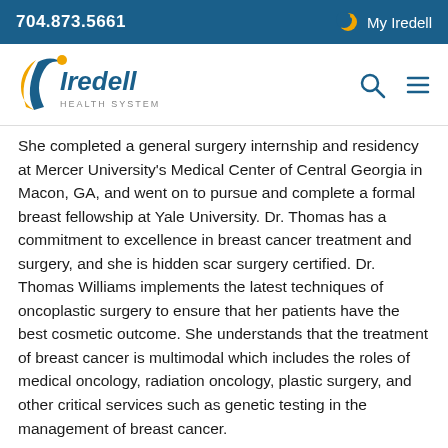704.873.5661   My Iredell
[Figure (logo): Iredell Health System logo with search and menu icons]
She completed a general surgery internship and residency at Mercer University's Medical Center of Central Georgia in Macon, GA, and went on to pursue and complete a formal breast fellowship at Yale University. Dr. Thomas has a commitment to excellence in breast cancer treatment and surgery, and she is hidden scar surgery certified. Dr. Thomas Williams implements the latest techniques of oncoplastic surgery to ensure that her patients have the best cosmetic outcome. She understands that the treatment of breast cancer is multimodal which includes the roles of medical oncology, radiation oncology, plastic surgery, and other critical services such as genetic testing in the management of breast cancer.
Dr. Princess Thomas Williams is an advocate for treating the whole person using an individualized and personalized approach for every single person. She is committed to